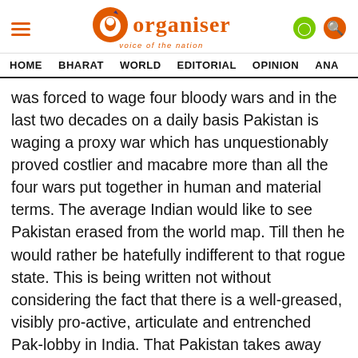Organiser — voice of the nation
HOME  BHARAT  WORLD  EDITORIAL  OPINION  ANA
was forced to wage four bloody wars and in the last two decades on a daily basis Pakistan is waging a proxy war which has unquestionably proved costlier and macabre more than all the four wars put together in human and material terms. The average Indian would like to see Pakistan erased from the world map. Till then he would rather be hatefully indifferent to that rogue state. This is being written not without considering the fact that there is a well-greased, visibly pro-active, articulate and entrenched Pak-lobby in India. That Pakistan takes away more media space than any other event in the country is also the natural consequence of this.